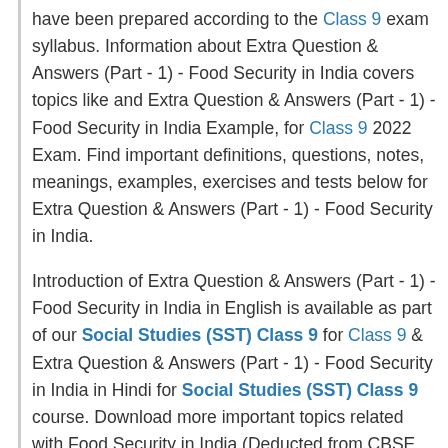have been prepared according to the Class 9 exam syllabus. Information about Extra Question & Answers (Part - 1) - Food Security in India covers topics like and Extra Question & Answers (Part - 1) - Food Security in India Example, for Class 9 2022 Exam. Find important definitions, questions, notes, meanings, examples, exercises and tests below for Extra Question & Answers (Part - 1) - Food Security in India.
Introduction of Extra Question & Answers (Part - 1) - Food Security in India in English is available as part of our Social Studies (SST) Class 9 for Class 9 & Extra Question & Answers (Part - 1) - Food Security in India in Hindi for Social Studies (SST) Class 9 course. Download more important topics related with Food Security in India (Deducted from CBSE 2021-22 examination), notes, lectures and mock test series for Class 9 Exam by signing up for free. Class 9: Extra